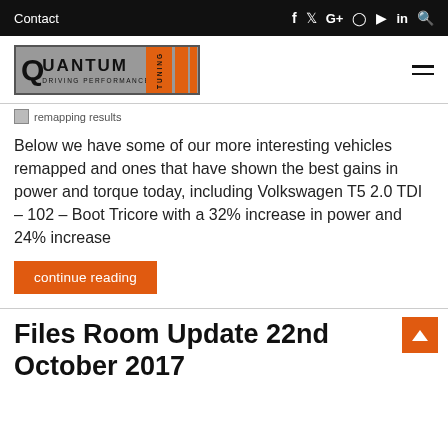Contact   f  y  G+  Instagram  YouTube  in  Search
[Figure (logo): Quantum Tuning Driving Performance logo with orange stripes]
Below we have some of our more interesting vehicles remapped and ones that have shown the best gains in power and torque today, including Volkswagen T5 2.0 TDI – 102 – Boot Tricore with a 32% increase in power and 24% increase
continue reading
Files Room Update 22nd October 2017